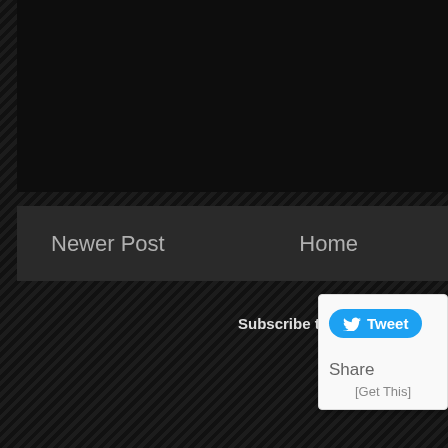[Figure (screenshot): Dark black panel area at the top of the page]
Newer Post   Home
Subscribe to: Post Comments
[Figure (screenshot): Twitter Tweet popup widget with Tweet button, Share text, and [Get This] link]